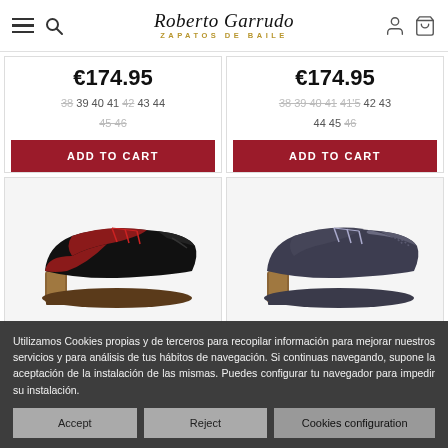Roberto Garrudo – Zapatos de Baile
€174.95
38 39 40 41 42 43 44 45 46
ADD TO CART
€174.95
38 39 40 41 41'5 42 43 44 45 46
ADD TO CART
[Figure (photo): Black and red flamenco dance shoe with wooden heel]
[Figure (photo): Grey and dark blue flamenco dance shoe with wooden heel]
Utilizamos Cookies propias y de terceros para recopilar información para mejorar nuestros servicios y para análisis de tus hábitos de navegación. Si continuas navegando, supone la aceptación de la instalación de las mismas. Puedes configurar tu navegador para impedir su instalación.
Accept
Reject
Cookies configuration